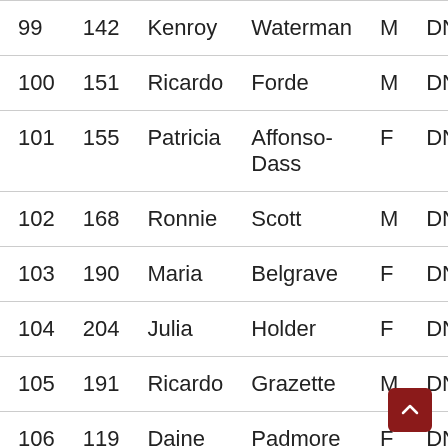| Rank | Bib | First | Last | Sex | Result |
| --- | --- | --- | --- | --- | --- |
| 99 | 142 | Kenroy | Waterman | M | DNF |
| 100 | 151 | Ricardo | Forde | M | DNF |
| 101 | 155 | Patricia | Affonso-Dass | F | DNF |
| 102 | 168 | Ronnie | Scott | M | DNF |
| 103 | 190 | Maria | Belgrave | F | DNF |
| 104 | 204 | Julia | Holder | F | DNF |
| 105 | 191 | Ricardo | Grazette | M | DNF |
| 106 | 119 | Daine | Padmore | F | DNF |